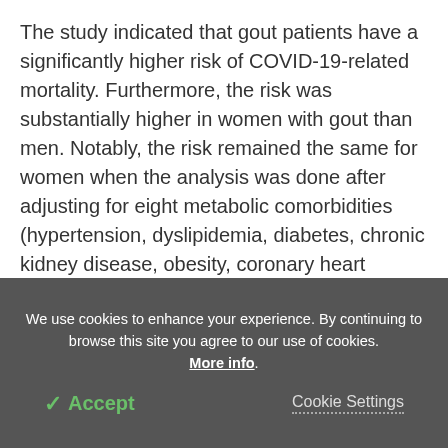The study indicated that gout patients have a significantly higher risk of COVID-19-related mortality. Furthermore, the risk was substantially higher in women with gout than men. Notably, the risk remained the same for women when the analysis was done after adjusting for eight metabolic comorbidities (hypertension, dyslipidemia, diabetes, chronic kidney disease, obesity, coronary heart disease, cerebrovascular disease, and heart failure). This observation suggests that the presence of metabolic comorbidities does not additionally increase the risk of
We use cookies to enhance your experience. By continuing to browse this site you agree to our use of cookies. More info.
✓ Accept
Cookie Settings